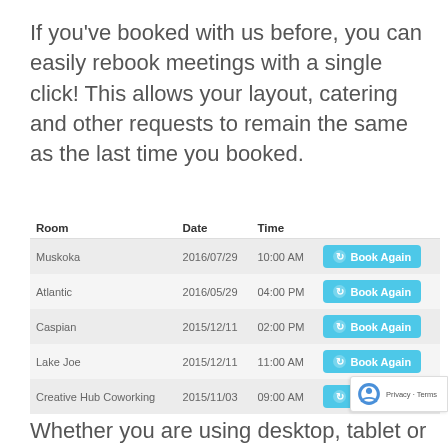If you've booked with us before, you can easily rebook meetings with a single click! This allows your layout, catering and other requests to remain the same as the last time you booked.
| Room | Date | Time |  |
| --- | --- | --- | --- |
| Muskoka | 2016/07/29 | 10:00 AM | Book Again |
| Atlantic | 2016/05/29 | 04:00 PM | Book Again |
| Caspian | 2015/12/11 | 02:00 PM | Book Again |
| Lake Joe | 2015/12/11 | 11:00 AM | Book Again |
| Creative Hub Coworking | 2015/11/03 | 09:00 AM | Book Again |
Whether you are using desktop, tablet or